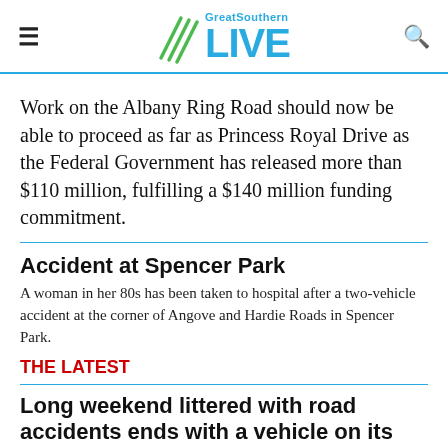GreatSouthern LIVE
Work on the Albany Ring Road should now be able to proceed as far as Princess Royal Drive as the Federal Government has released more than $110 million, fulfilling a $140 million funding commitment.
Accident at Spencer Park
A woman in her 80s has been taken to hospital after a two-vehicle accident at the corner of Angove and Hardie Roads in Spencer Park.
THE LATEST
Long weekend littered with road accidents ends with a vehicle on its roof